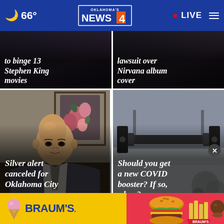🌙 66° | Oklahoma's News 4 | LIVE
to binge 13 Stephen King movies
lawsuit over Nirvana album cover
[Figure (photo): Portrait of an elderly Asian man in a suit and tie]
Silver alert canceled for Oklahoma City man
[Figure (photo): Close-up of gym/exercise equipment on a floor]
Should you get a new COVID booster? If so, when?
[Figure (photo): Braum's advertisement with logo, burger and ice cream on yellow and pink background]